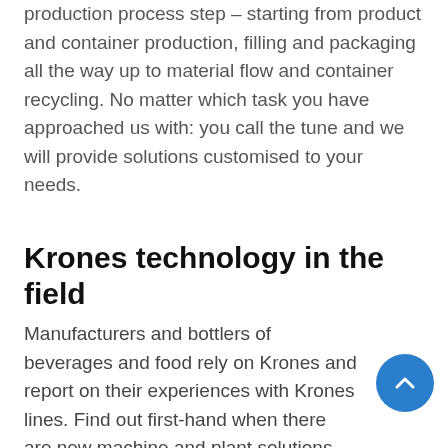production process step – starting from product and container production, filling and packaging all the way up to material flow and container recycling. No matter which task you have approached us with: you call the tune and we will provide solutions customised to your needs.
Krones technology in the field
Manufacturers and bottlers of beverages and food rely on Krones and report on their experiences with Krones lines. Find out first-hand when there are new machine and plant solutions for the